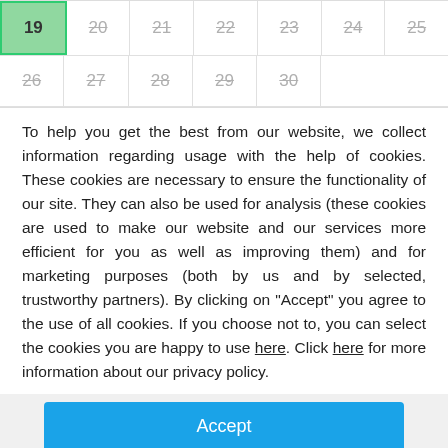[Figure (other): Partial calendar view showing dates 19-30. Day 19 is highlighted in green. Days 20-25 shown in first row, 26-30 in second row, all with strikethrough gray text.]
To help you get the best from our website, we collect information regarding usage with the help of cookies. These cookies are necessary to ensure the functionality of our site. They can also be used for analysis (these cookies are used to make our website and our services more efficient for you as well as improving them) and for marketing purposes (both by us and by selected, trustworthy partners). By clicking on "Accept" you agree to the use of all cookies. If you choose not to, you can select the cookies you are happy to use here. Click here for more information about our privacy policy.
Accept
Decline
Configure